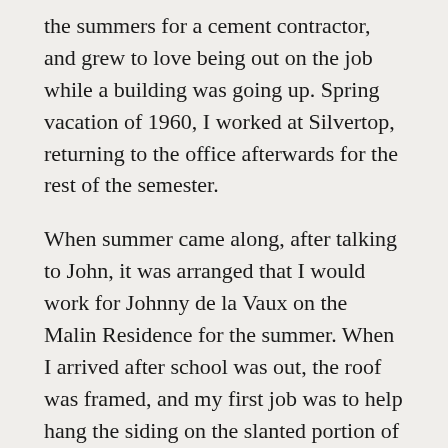the summers for a cement contractor, and grew to love being out on the job while a building was going up. Spring vacation of 1960, I worked at Silvertop, returning to the office afterwards for the rest of the semester.
When summer came along, after talking to John, it was arranged that I would work for Johnny de la Vaux on the Malin Residence for the summer. When I arrived after school was out, the roof was framed, and my first job was to help hang the siding on the slanted portion of the exterior below the windows. As I remember, there was suspended from a 2×4 framework from the overhang, two 2×12s upon which we walked and did the work. It was a long way to the ground on the downhill side.
The crew consisted of Johnny, his son-in-law Len, Odie